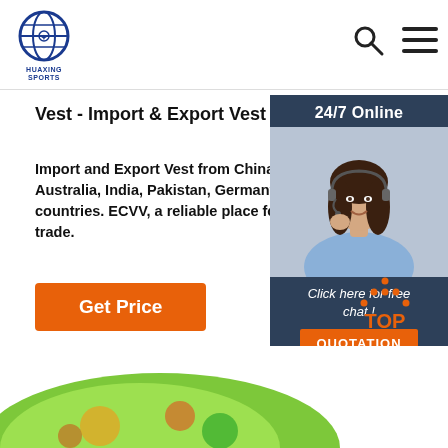[Figure (logo): Huaxing Sports logo - globe icon with blue and white colors, text HUAXING SPORTS below]
[Figure (illustration): Search icon (magnifying glass) and hamburger menu icon in nav bar]
Vest - Import & Export Vest Catalog - ECVV China
Import and Export Vest from China, USA, Australia, India, Pakistan, Germany and countries. ECVV, a reliable place for int trade.
[Figure (other): Orange Get Price button]
[Figure (photo): 24/7 Online chat widget with photo of a smiling woman wearing a headset, blue/dark background, with Click here for free chat! text and orange QUOTATION button]
[Figure (illustration): Orange TOP button with upward arrow dots icon]
[Figure (photo): Green vest/jacket product image at bottom of page]